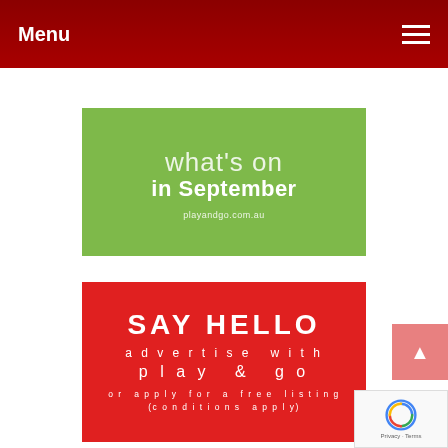Menu
[Figure (illustration): Green banner with text 'what's on in September' and URL playandgo.com.au]
[Figure (illustration): Red banner with text 'SAY HELLO advertise with play & go or apply for a free listing (conditions apply)']